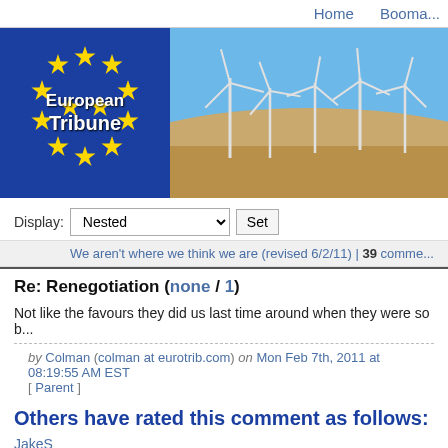Home  Booma...
[Figure (illustration): European Tribune banner with EU flag on the left (blue background, yellow stars, 'European Tribune' text) and wind turbines in a field under blue sky on the right]
Display: Nested [Set]
We aren't where we think we are (revised 6/2/11) | 39 comme...
Re: Renegotiation (none / 1)
Not like the favours they did us last time around when they were so b...
by Colman (colman at eurotrib.com) on Mon Feb 7th, 2011 at 08:19:55 AM EST
[ Parent ]
Others have rated this comment as follows:
JakeS